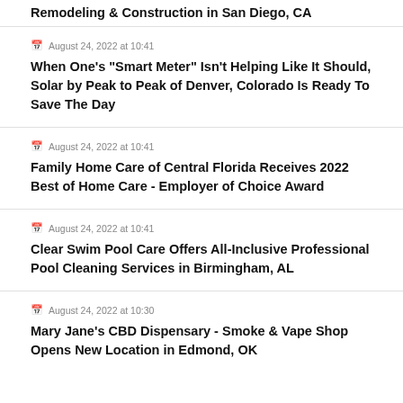Remodeling & Construction in San Diego, CA
August 24, 2022 at 10:41
When One's "Smart Meter" Isn't Helping Like It Should, Solar by Peak to Peak of Denver, Colorado Is Ready To Save The Day
August 24, 2022 at 10:41
Family Home Care of Central Florida Receives 2022 Best of Home Care - Employer of Choice Award
August 24, 2022 at 10:41
Clear Swim Pool Care Offers All-Inclusive Professional Pool Cleaning Services in Birmingham, AL
August 24, 2022 at 10:30
Mary Jane's CBD Dispensary - Smoke & Vape Shop Opens New Location in Edmond, OK